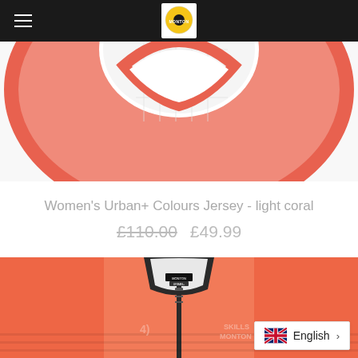Monton cycling brand header with hamburger menu and logo
[Figure (photo): Top cropped portion of Women's Urban+ Colours Jersey in light coral/pink, showing collar and upper torso area with mesh neckline]
Women's Urban+ Colours Jersey - light coral
£110.00 £49.99
[Figure (photo): Front view of Women's Urban+ Colours Jersey in coral/orange color, showing zipper, collar, sleeves and subtle Monton branding]
English